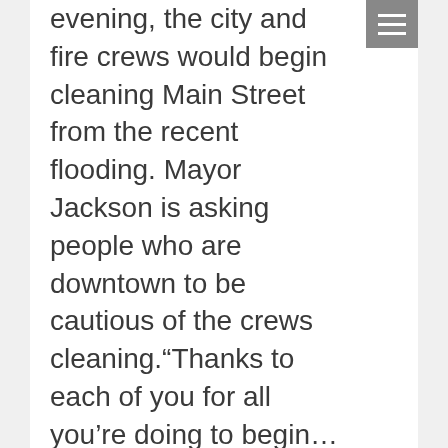evening, the city and fire crews would begin cleaning Main Street from the recent flooding. Mayor Jackson is asking people who are downtown to be cautious of the crews cleaning.“Thanks to each of you for all you’re doing to begin…
Pikeville Business Hiring
News Archive · By mountaingospel · March 8, 2021
Pikeville Business Hiring Bank 253 in Pikeville has recently posted on its Facebook page that it is seeking